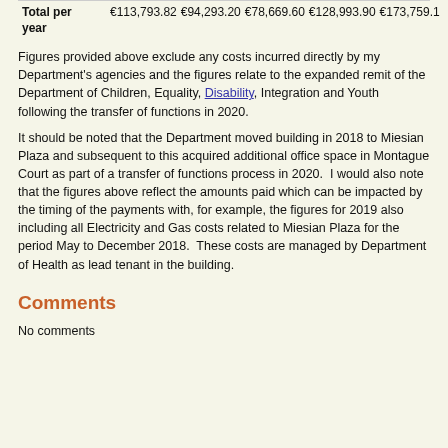|  | Col1 | Col2 | Col3 | Col4 | Col5 |
| --- | --- | --- | --- | --- | --- |
| Total per year | €113,793.82 | €94,293.20 | €78,669.60 | €128,993.90 | €173,759.1 |
Figures provided above exclude any costs incurred directly by my Department's agencies and the figures relate to the expanded remit of the Department of Children, Equality, Disability, Integration and Youth following the transfer of functions in 2020.
It should be noted that the Department moved building in 2018 to Miesian Plaza and subsequent to this acquired additional office space in Montague Court as part of a transfer of functions process in 2020.  I would also note that the figures above reflect the amounts paid which can be impacted by the timing of the payments with, for example, the figures for 2019 also including all Electricity and Gas costs related to Miesian Plaza for the period May to December 2018.  These costs are managed by Department of Health as lead tenant in the building.
Comments
No comments